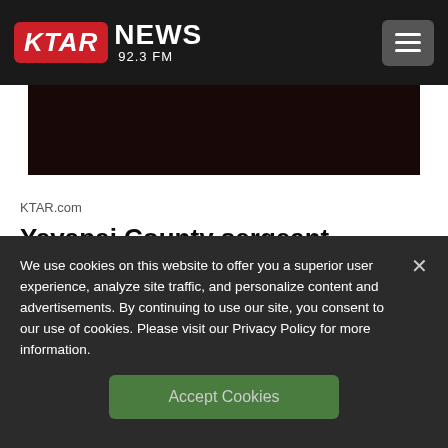KTAR NEWS 92.3 FM
[Figure (photo): Dark image strip showing a dimly lit scene, mostly dark tones]
KTAR.com
Yavapai County sergeant involved in fatal collision with a pedestrian
We use cookies on this website to offer you a superior user experience, analyze site traffic, and personalize content and advertisements. By continuing to use our site, you consent to our use of cookies. Please visit our Privacy Policy for more information.
Accept Cookies